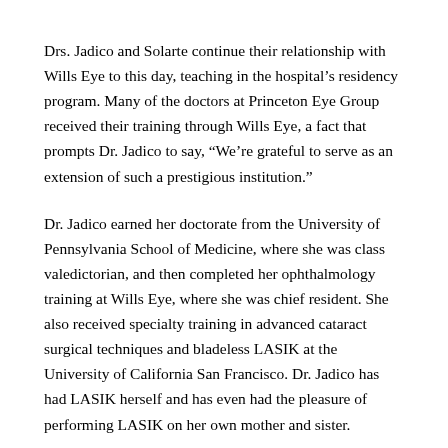Drs. Jadico and Solarte continue their relationship with Wills Eye to this day, teaching in the hospital's residency program. Many of the doctors at Princeton Eye Group received their training through Wills Eye, a fact that prompts Dr. Jadico to say, “We’re grateful to serve as an extension of such a prestigious institution.”
Dr. Jadico earned her doctorate from the University of Pennsylvania School of Medicine, where she was class valedictorian, and then completed her ophthalmology training at Wills Eye, where she was chief resident. She also received specialty training in advanced cataract surgical techniques and bladeless LASIK at the University of California San Francisco. Dr. Jadico has had LASIK herself and has even had the pleasure of performing LASIK on her own mother and sister.
Dr. Solarte, meanwhile, received her undergraduate degree in biology and medical anthropology from Washington University in St. Louis, where she graduated magna cum laude. Born and raised in the Philadelphia area, Dr. Solarte returned to her hometown to attend medical school at Jefferson Medical College (now Sidney Kimmel Medical College at Thomas Jefferson University), followed by her ophthalmology residency at